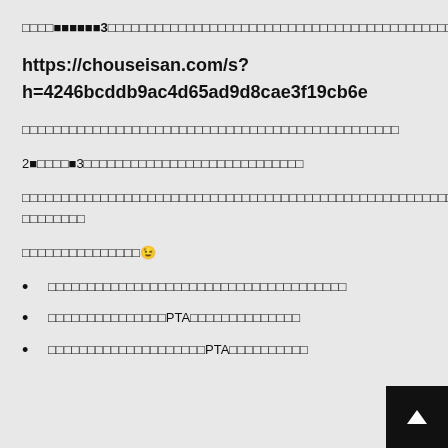□□□□■■■■■■3□□□□□□□□□□□□□□□□□□□□□□□□□□□□□□□□□□□□□□□□□□□□□□□□□□□□□□□□□□□□□□□□□□□□□□□□□□□□□□□□□□□□□□□□□□□□□□□□□□□□□□□□□□□□□□□□□□□□□□□□□□□□□□□□□□□□□□□□□□□□□□□□□□□□□□□□□□□□□□□□□□□□□□□□□□□□□□□□□□□□PTA□□□□□□□□□□□□□
https://chouseisan.com/s?h=4246bcddb9ac4d65ad9d8cae3f19cb6e
□□□□□□□□□□□□□□□□□□□□□□□□□□□□□□□□□□□□□□□□□□□□□□□□
2■□□□□■3□□□□□□□□□□□□□□□□□□□□□□□□□□□□
□□□□□□□□□□□□□□□□□□□□□□□□□□□□□□□□□□□□□□□□□□□□□□□□□□□□□□□□□□□□□□□□□□□□□□□□□□□□□□□□□□□□□□□□□□□□
□□□□□□□□□□□□□□□😉
□□□□□□□□□□□□□□□□□□□□□□□□□□□□□□□□□□□□□□
□□□□□□□□□□□□□□□PTA□□□□□□□□□□□□□□
□□□□□□□□□□□□□□□□□□□□PTA□□□□□□□□□□